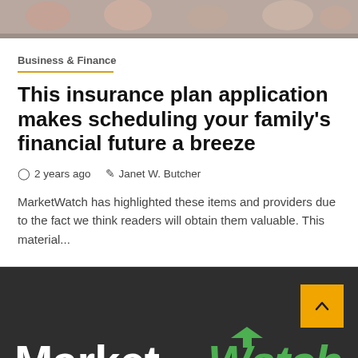[Figure (photo): Top banner image showing people, partially cropped at top of page]
Business & Finance
This insurance plan application makes scheduling your family's financial future a breeze
2 years ago   Janet W. Butcher
MarketWatch has highlighted these items and providers due to the fact we think readers will obtain them valuable. This material...
[Figure (logo): MarketWatch logo in white and green on dark background, with back-to-top arrow button in orange]